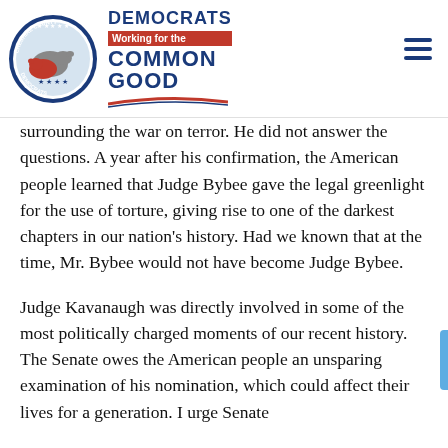DEMOCRATS Working for the COMMON GOOD — Cheshire County Democrats logo
surrounding the war on terror. He did not answer the questions. A year after his confirmation, the American people learned that Judge Bybee gave the legal greenlight for the use of torture, giving rise to one of the darkest chapters in our nation's history. Had we known that at the time, Mr. Bybee would not have become Judge Bybee.
Judge Kavanaugh was directly involved in some of the most politically charged moments of our recent history. The Senate owes the American people an unsparing examination of his nomination, which could affect their lives for a generation. I urge Senate